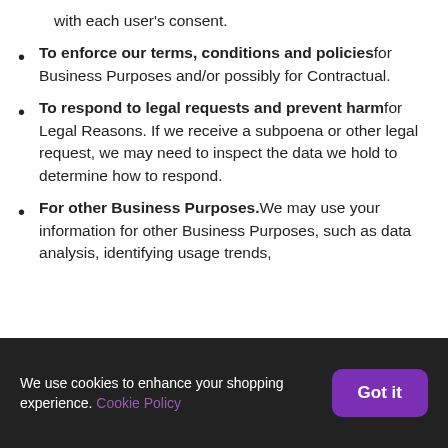with each user's consent.
To enforce our terms, conditions and policies for Business Purposes and/or possibly for Contractual.
To respond to legal requests and prevent harm for Legal Reasons. If we receive a subpoena or other legal request, we may need to inspect the data we hold to determine how to respond.
For other Business Purposes. We may use your information for other Business Purposes, such as data analysis, identifying usage trends,
We use cookies to enhance your shopping experience. Cookie Policy  Got it